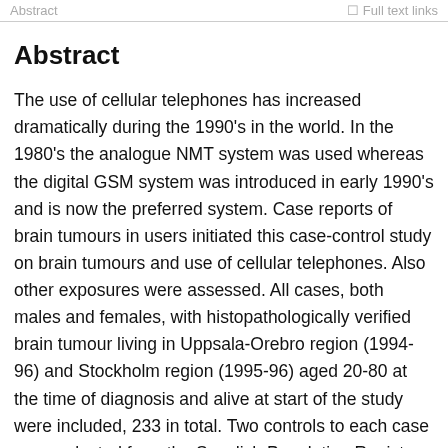Abstract | Full text links
Abstract
The use of cellular telephones has increased dramatically during the 1990's in the world. In the 1980's the analogue NMT system was used whereas the digital GSM system was introduced in early 1990's and is now the preferred system. Case reports of brain tumours in users initiated this case-control study on brain tumours and use of cellular telephones. Also other exposures were assessed. All cases, both males and females, with histopathologically verified brain tumour living in Uppsala-Orebro region (1994-96) and Stockholm region (1995-96) aged 20-80 at the time of diagnosis and alive at start of the study were included, 233 in total. Two controls to each case were selected from the Swedish Population Register matched for sex, age and study region. Exposure was assessed by questionnaires supplemented over the phone. The analyses were based on answers